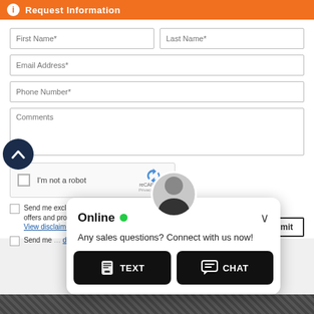Request Information
[Figure (screenshot): Web form with fields: First Name, Last Name, Email Address, Phone Number, Comments textarea, reCAPTCHA checkbox, two consent checkboxes, and a Submit button]
[Figure (infographic): Live chat widget overlay showing agent avatar, Online status with green dot, message 'Any sales questions? Connect with us now!', and two buttons: TEXT and CHAT]